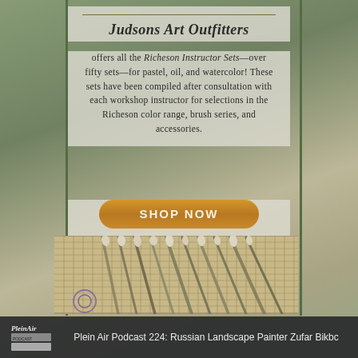Judsons Art Outfitters
offers all the Richeson Instructor Sets—over fifty sets—for pastel, oil, and watercolor! These sets have been compiled after consultation with each workshop instructor for selections in the Richeson color range, brush series, and accessories.
[Figure (other): Orange rounded button with text SHOP NOW]
[Figure (photo): Photo of artist paint brushes laid out on a bamboo brush roll mat, with a partially visible logo overlay]
Plein Air Podcast 224: Russian Landscape Painter Zufar Bikbc